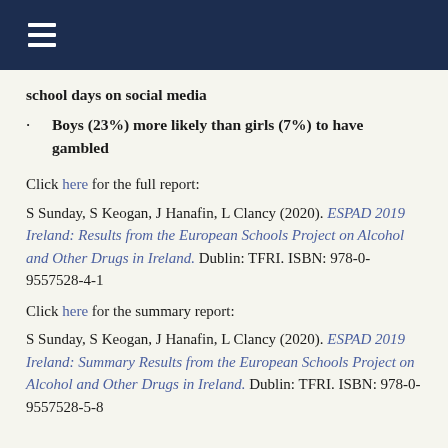school days on social media
Boys (23%) more likely than girls (7%) to have gambled
Click here for the full report:
S Sunday, S Keogan, J Hanafin, L Clancy (2020). ESPAD 2019 Ireland: Results from the European Schools Project on Alcohol and Other Drugs in Ireland. Dublin: TFRI. ISBN: 978-0-9557528-4-1
Click here for the summary report:
S Sunday, S Keogan, J Hanafin, L Clancy (2020). ESPAD 2019 Ireland: Summary Results from the European Schools Project on Alcohol and Other Drugs in Ireland. Dublin: TFRI. ISBN: 978-0-9557528-5-8